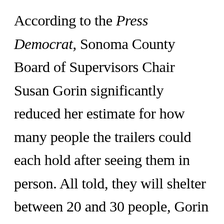According to the Press Democrat, Sonoma County Board of Supervisors Chair Susan Gorin significantly reduced her estimate for how many people the trailers could each hold after seeing them in person. All told, they will shelter between 20 and 30 people, Gorin told a reporter.

The Sonoma County Board of